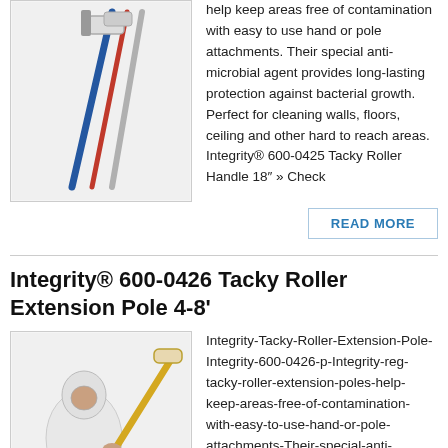[Figure (photo): Photo of tacky roller handles/poles leaning together — blue, red, and white poles with roller heads]
help keep areas free of contamination with easy to use hand or pole attachments. Their special anti-microbial agent provides long-lasting protection against bacterial growth. Perfect for cleaning walls, floors, ceiling and other hard to reach areas. Integrity® 600-0425 Tacky Roller Handle 18" » Check
READ MORE
Integrity® 600-0426 Tacky Roller Extension Pole 4-8'
[Figure (photo): Person in white protective cleanroom suit holding a tacky roller on an extension pole]
Integrity-Tacky-Roller-Extension-Pole-Integrity-600-0426-p-Integrity-reg-tacky-roller-extension-poles-help-keep-areas-free-of-contamination-with-easy-to-use-hand-or-pole-attachments-Their-special-anti-microbial-agent-provides-long-lasting-protection-against-bacterial-growth-Perfect-for-cleaning-walls-floors-ceilings-and-other-hard-to-reach-places-p-